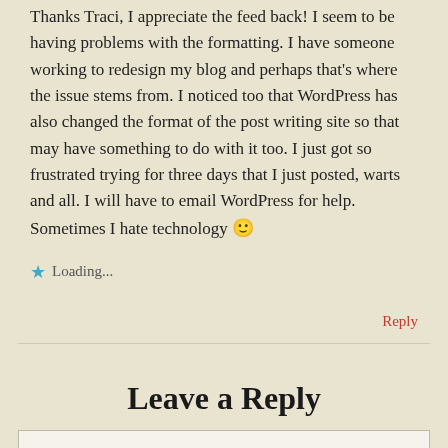Thanks Traci, I appreciate the feed back! I seem to be having problems with the formatting. I have someone working to redesign my blog and perhaps that's where the issue stems from. I noticed too that WordPress has also changed the format of the post writing site so that may have something to do with it too. I just got so frustrated trying for three days that I just posted, warts and all. I will have to email WordPress for help. Sometimes I hate technology 🙂
★ Loading...
Reply
Leave a Reply